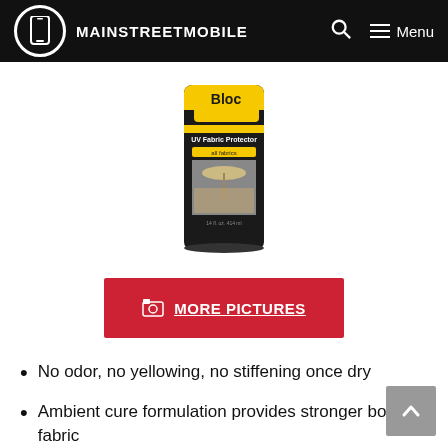MAINSTREETMOBILE
[Figure (photo): A spray can of UV Fabric Protector product labeled 'Bloc UV Fabric Protector' with a yellow and black label showing outdoor patio furniture and an umbrella]
MORE PICTURES
No odor, no yellowing, no stiffening once dry
Ambient cure formulation provides stronger bond to fabric
Treats from 40 to 80 square feet of fabric